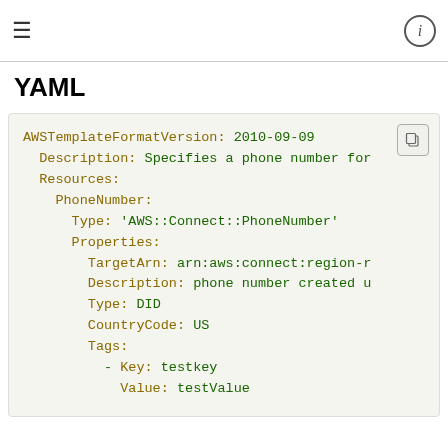≡  ⓘ
YAML
AWSTemplateFormatVersion: 2010-09-09
  Description: Specifies a phone number for
  Resources:
    PhoneNumber:
      Type: 'AWS::Connect::PhoneNumber'
      Properties:
        TargetArn: arn:aws:connect:region-r
        Description: phone number created u
        Type: DID
        CountryCode: US
        Tags:
          - Key: testkey
            Value: testValue